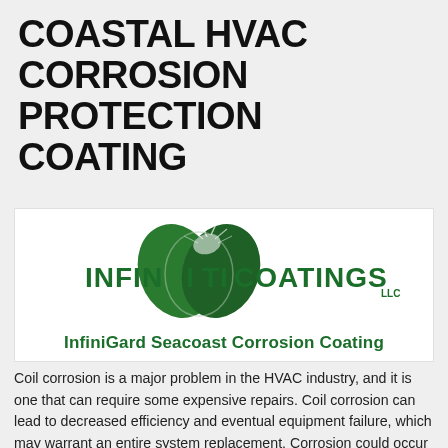COASTAL HVAC CORROSION PROTECTION COATING
[Figure (logo): Infiniti Coatings LLC logo with green leaf/shield graphic and text 'INFINITI COATINGS LLC', with subtitle 'InfiniGard Seacoast Corrosion Coating']
Coil corrosion is a major problem in the HVAC industry, and it is one that can require some expensive repairs. Coil corrosion can lead to decreased efficiency and eventual equipment failure, which may warrant an entire system replacement. Corrosion could occur within weeks of installing your new HVAC system or it may take several years to present itself, but